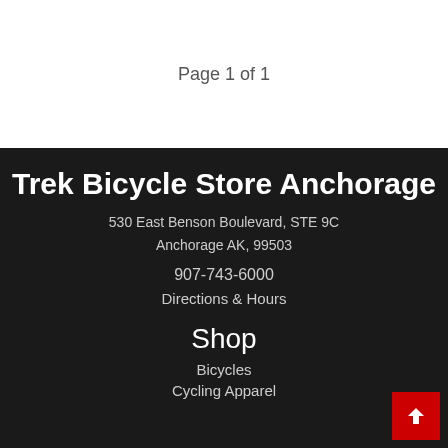Page 1 of 1
Trek Bicycle Store Anchorage
530 East Benson Boulevard, STE 9C
Anchorage AK, 99503
907-743-6000
Directions & Hours
Shop
Bicycles
Cycling Apparel